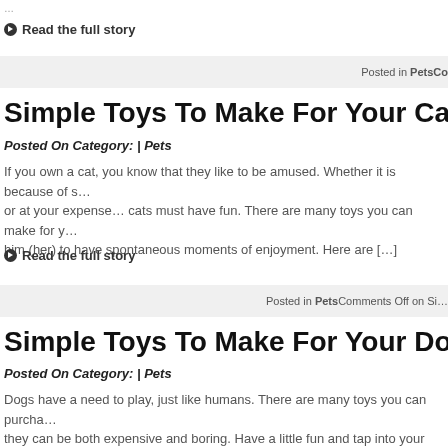Read the full story
Posted in PetsCo…
Simple Toys To Make For Your Cat
Posted On Category: | Pets
If you own a cat, you know that they like to be amused. Whether it is because of s… or at your expense… cats must have fun. There are many toys you can make for … him (her) to have spontaneous moments of enjoyment. Here are […]
Read the full story
Posted in PetsComments Off on Si…
Simple Toys To Make For Your Dog
Posted On Category: | Pets
Dogs have a need to play, just like humans. There are many toys you can purcha… they can be both expensive and boring. Have a little fun and tap into your creative… new toys that won't cost much, and that will give your dog […]